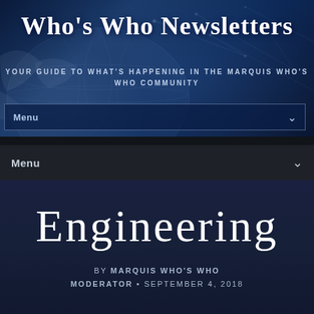Who's Who Newsletters
YOUR GUIDE TO WHAT'S HAPPENING IN THE MARQUIS WHO'S WHO COMMUNITY
Menu
Menu
Engineering
by MARQUIS WHO'S WHO MODERATOR • SEPTEMBER 4, 2018